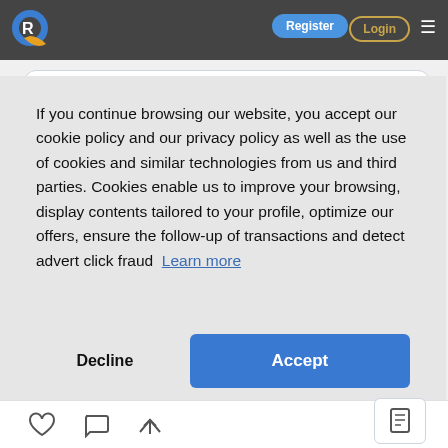Register  Login  ☰
[Figure (screenshot): Cookie consent modal overlay on a website. Contains cookie policy text, a 'Decline' button, and a blue 'Accept' button. Background shows a website navigation bar with logo, Register and Login buttons.]
If you continue browsing our website, you accept our cookie policy and our privacy policy as well as the use of cookies and similar technologies from us and third parties. Cookies enable us to improve your browsing, display contents tailored to your profile, optimize our offers, ensure the follow-up of transactions and detect advert click fraud  Learn more
Decline
Accept